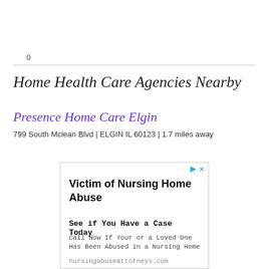0
Home Health Care Agencies Nearby
Presence Home Care Elgin
799 South Mclean Blvd | ELGIN IL 60123 | 1.7 miles away
[Figure (other): Advertisement box for nursing home abuse legal services. Title: 'Victim of Nursing Home Abuse'. Subtitle: 'See if You Have a Case Today'. Body: 'Call Now If Your or a Loved One Has Been Abused in a Nursing Home'. URL: nursingabuseattorneys.com]